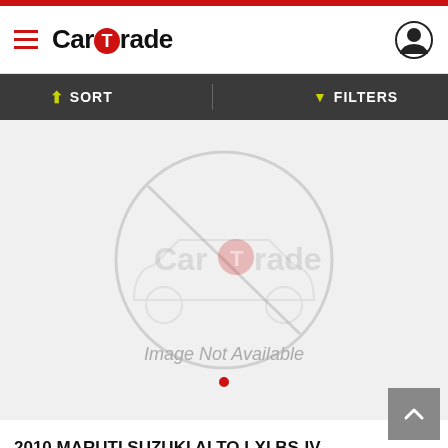CarTrade
SORT   FILTERS
[Figure (illustration): CarTrade logo watermark with no-image car icon overlay and text 'Image Not Available']
2010 MARUTI SUZUKI ALTO LXI BS-IV
₹1,65,000  Make Offer
60,000 KMs  |  Petrol  |  Indore